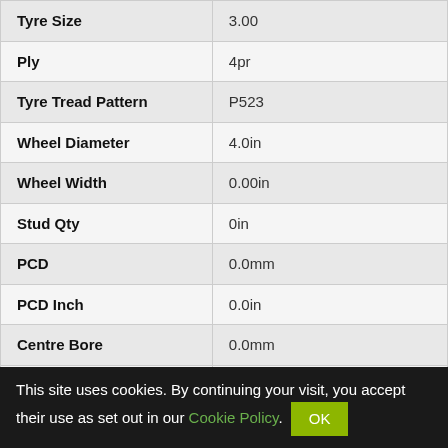| Tyre Size | 3.00 |
| Ply | 4pr |
| Tyre Tread Pattern | P523 |
| Wheel Diameter | 4.0in |
| Wheel Width | 0.00in |
| Stud Qty | 0in |
| PCD | 0.0mm |
| PCD Inch | 0.0in |
| Centre Bore | 0.0mm |
| Offset | 0.0mm |
| Stud Diameter | 0.0mm |
This site uses cookies. By continuing your visit, you accept their use as set out in our Cookie Policy. OK